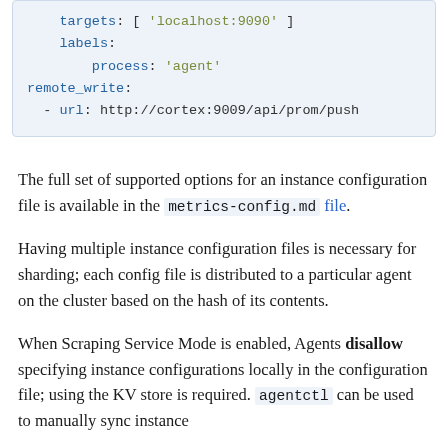[Figure (other): YAML code block showing targets, labels, process: agent, remote_write, url configuration]
The full set of supported options for an instance configuration file is available in the metrics-config.md file.
Having multiple instance configuration files is necessary for sharding; each config file is distributed to a particular agent on the cluster based on the hash of its contents.
When Scraping Service Mode is enabled, Agents disallow specifying instance configurations locally in the configuration file; using the KV store is required. agentctl can be used to manually sync instance